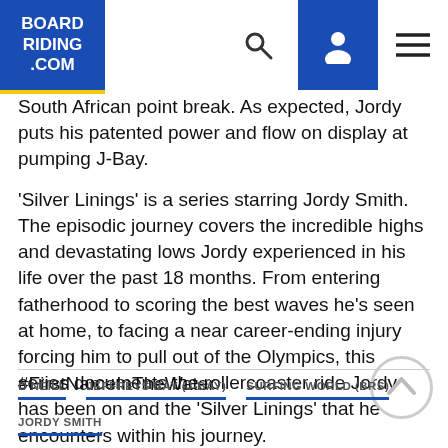BOARD RIDING .COM
South African point break. As expected, Jordy puts his patented power and flow on display at pumping J-Bay.

'Silver Linings' is a series starring Jordy Smith. The episodic journey covers the incredible highs and devastating lows Jordy experienced in his life over the past 18 months. From entering fatherhood to scoring the best waves he's seen at home, to facing a near career-ending injury forcing him to pull out of the Olympics, this series documents the rollercoaster ride Jordy has been on and the 'Silver Linings' that he encounters within his journey.
Subscribe to our channel here:
http://bit.ly/oneill_youtube
#FirstNameInTheWater
O'NEILL
JEFFREYS BAY (J-BAY)
SURFING WORLD (BRS)
JORDY SMITH